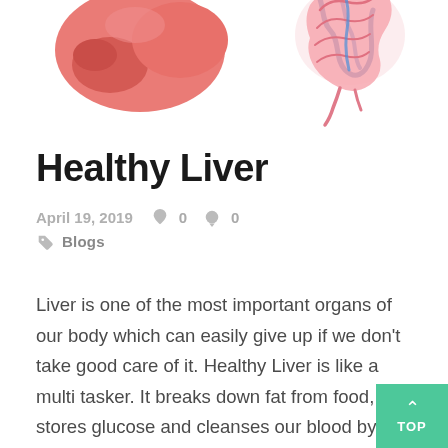[Figure (illustration): Two medical organ illustrations at the top: a pink/red liver on the left and a colorful intestine/gut illustration on the right, partially cropped at top edge.]
Healthy Liver
April 19, 2019  ♥ 0  ● 0  🏷 Blogs
Liver is one of the most important organs of our body which can easily give up if we don't take good care of it. Healthy Liver is like a multi tasker. It breaks down fat from food, stores glucose and cleanses our blood by removing toxins. Healthy Liver doesn't need much care. A balanced diet, healthy lifestyle and good hygiene is enough to get it going. How can a Healthy